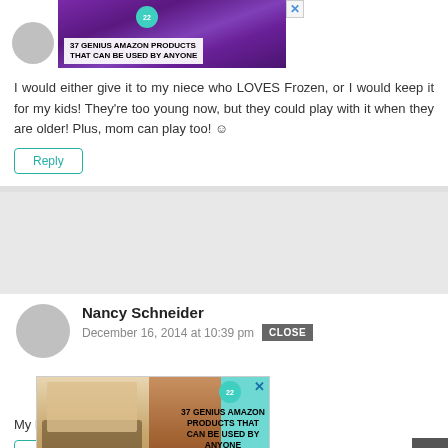[Figure (screenshot): Ad banner showing purple headphones with text '37 GENIUS AMAZON PRODUCTS THAT CAN BE USED BY ANYONE' and a circular badge with '22' and an X close button]
I would either give it to my niece who LOVES Frozen, or I would keep it for my kids! They're too young now, but they could play with it when they are older! Plus, mom can play too! ☺
Reply
Nancy Schneider
December 16, 2014 at 10:39 pm
CLOSE
My ki
Rep
[Figure (screenshot): Ad overlay on teal background showing cookies/baked goods on left, lip products in center, and text '37 GENIUS AMAZON PRODUCTS THAT CAN BE USED BY ANYONE' with '22' badge and X close button on right]